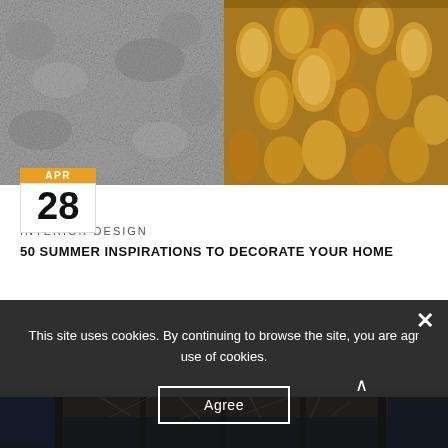[Figure (photo): Split image: left side shows a gray textured stone or moss-covered surface, right side shows golden metallic pendant decorations]
APR
28
INTERIOR DESIGN
50 SUMMER INSPIRATIONS TO DECORATE YOUR HOME
[Figure (photo): Interior design photo showing a modern lobby or corridor with an artistic ceiling installation of scattered branches/crystal elements, dark metallic partitions on the sides, and blue-lit background]
This site uses cookies. By continuing to browse the site, you are agreeing to our use of cookies.
Agree